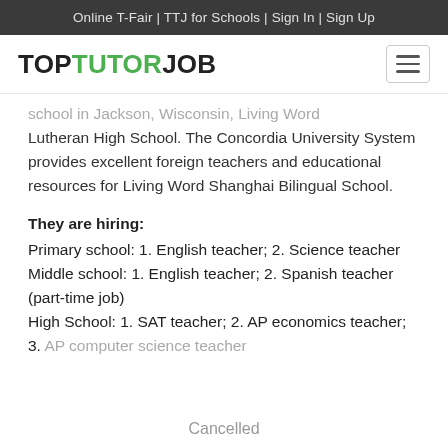Online T-Fair | TTJ for Schools | Sign In | Sign Up
TOPTUTORJOB
school in Jackson, Wisconsin, Living Word Lutheran High School. The Concordia University System provides excellent foreign teachers and educational resources for Living Word Shanghai Bilingual School.
They are hiring:
Primary school: 1. English teacher; 2. Science teacher
Middle school: 1. English teacher; 2. Spanish teacher (part-time job)
High School: 1. SAT teacher; 2. AP economics teacher; 3. AP computer science teacher
Cancelled